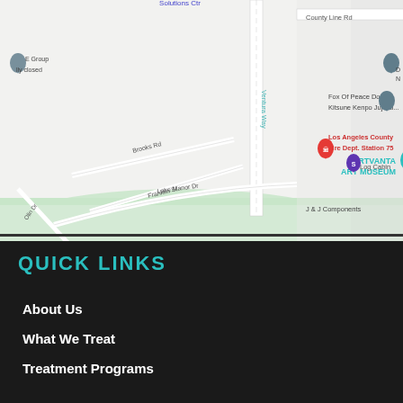[Figure (map): Google Maps screenshot showing area around ARTVANTA ART MUSEUM, with streets including Ventura Way, Brooks Rd, Franklin St, Lake Manor Dr, Olin Dr. Landmarks include Fox Of Peace Dojo Kitsune Kenpo Jujitsu, Los Angeles County Fire Dept. Station 75, Log Cabin, J & J Components, County Line Rd label, and map pins.]
QUICK LINKS
About Us
What We Treat
Treatment Programs